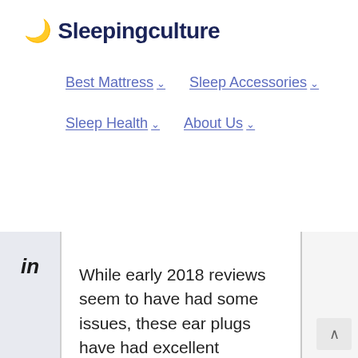🌙 Sleepingculture
Best Mattress ∨   Sleep Accessories ∨   Sleep Health ∨   About Us ∨
While early 2018 reviews seem to have had some issues, these ear plugs have had excellent feedback as of May 2018! The silicone construction is being